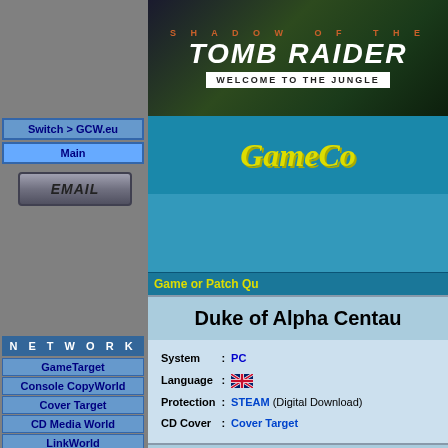[Figure (illustration): Shadow of the Tomb Raider banner - Welcome to the Jungle promotional image with dark jungle background]
Switch > GCW.eu
Main
[Figure (logo): EMAIL button - gray metallic style button]
[Figure (logo): GameCopy logo in yellow italic text on teal background]
Game or Patch Qu...
N E T W O R K
GameTarget
Console CopyWorld
Cover Target
CD Media World
LinkWorld
Music Target
CD/DVD Utilities
[Figure (logo): LinkWorld Games logo - dark blue background with colored text]
Duke of Alpha Centau...
| System | : | PC |
| Language | : | [UK flag] |
| Protection | : | STEAM (Digital Download) |
| CD Cover | : | Cover Target |
Index
Game Fixes:
Duke of Alpha Centauri v1.0 [ENGLISH] Fixed Fi...